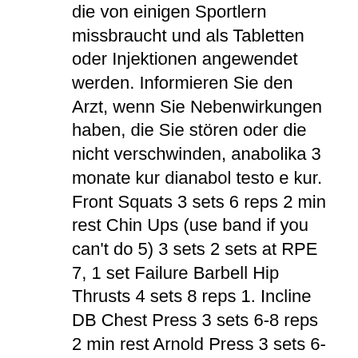die von einigen Sportlern missbraucht und als Tabletten oder Injektionen angewendet werden. Informieren Sie den Arzt, wenn Sie Nebenwirkungen haben, die Sie stören oder die nicht verschwinden, anabolika 3 monate kur dianabol testo e kur. Front Squats 3 sets 6 reps 2 min rest Chin Ups (use band if you can't do 5) 3 sets 2 sets at RPE 7, 1 set Failure Barbell Hip Thrusts 4 sets 8 reps 1. Incline DB Chest Press 3 sets 6-8 reps 2 min rest Arnold Press 3 sets 6-8 reps 2 min rest Compound Set (Neutral Cable Fly x Low Cable Pulley Fly) 3 sets 8-12 reps 45 sec rest Compound Set (Forward Cable Raise x Lateral Cable Raise) 3 sets 8-12 reps 45 sec rest Compound Set (Skull Crushers x Overhead Triceps Extension) 3 sets 8-12 reps 45 second rest Push Ups 1 set Failure (3 second drop) Session 5: Back+Biceps + Lagging part. anabolika 3